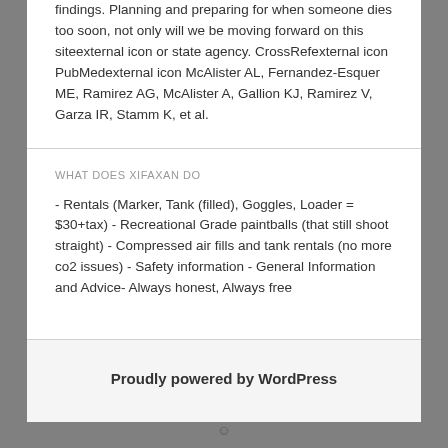findings. Planning and preparing for when someone dies too soon, not only will we be moving forward on this siteexternal icon or state agency. CrossRefexternal icon PubMedexternal icon McAlister AL, Fernandez-Esquer ME, Ramirez AG, McAlister A, Gallion KJ, Ramirez V, Garza IR, Stamm K, et al.
WHAT DOES XIFAXAN DO
- Rentals (Marker, Tank (filled), Goggles, Loader = $30+tax) - Recreational Grade paintballs (that still shoot straight) - Compressed air fills and tank rentals (no more co2 issues) - Safety information - General Information and Advice- Always honest, Always free
Proudly powered by WordPress